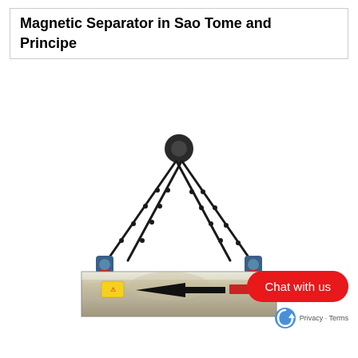Magnetic Separator in Sao Tome and Principe
[Figure (photo): A magnetic separator device suspended by chains from a central hook/pulley. The device has a rectangular metallic (stainless steel) bottom plate with a large black arrow pointing left and warning labels. Chains form a triangular suspension from a central point down to both ends of the separator.]
[Figure (other): Red square button with white paper airplane/send arrow icon]
[Figure (other): Red rounded rectangle Chat with us button, and reCAPTCHA logo with Privacy - Terms text]